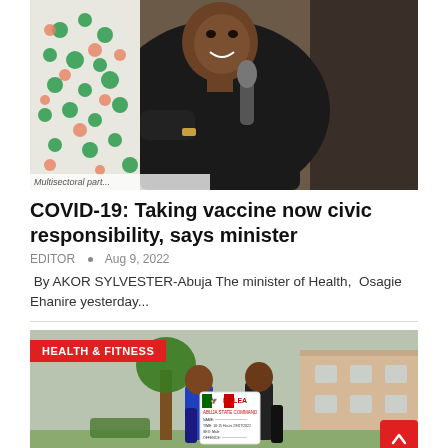[Figure (photo): Man in dark traditional Nigerian attire speaking into a microphone at an event, with a green and red dot pattern banner/rollup in the background. Text at bottom reads 'Multisectoral part...']
COVID-19: Taking vaccine now civic responsibility, says minister
EDITOR • Aug 9, 2022
By AKOR SYLVESTER-Abuja The minister of Health, Osagie Ehanire yesterday...
[Figure (photo): Two men holding an NDLEA (Abuja State Command) certificate/board outdoors in front of a building. A red HEALTH & FITNESS badge overlays the top-left corner. A red scroll-to-top button is in the bottom-right corner.]